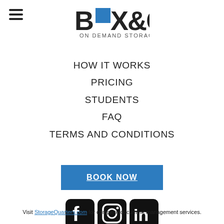[Figure (logo): BOX&CO ON DEMAND STORAGE logo with a blue square replacing the 'O' in BOX]
HOW IT WORKS
PRICING
STUDENTS
FAQ
TERMS AND CONDITIONS
[Figure (other): Blue BOOK NOW button with underlined white bold text]
[Figure (other): Three social media icons: Facebook, Instagram, LinkedIn — black rounded square backgrounds]
Visit StorageQuarters.com for complete document management services.